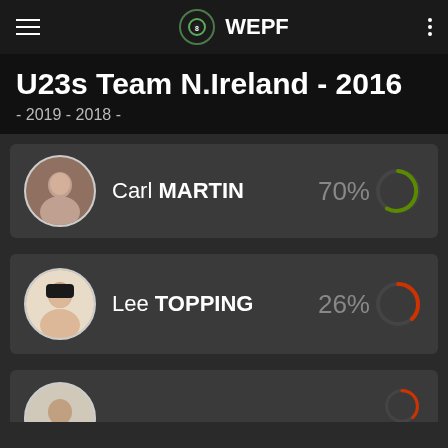WEPF
U23s Team N.Ireland - 2016
- 2019 - 2018 -
[Figure (infographic): Player card for Carl MARTIN showing circular progress ring at 70% in green]
[Figure (infographic): Player card for Lee TOPPING showing circular progress ring at 26% in red/orange]
[Figure (infographic): Partial player card at bottom of screen, player name and percentage not fully visible]